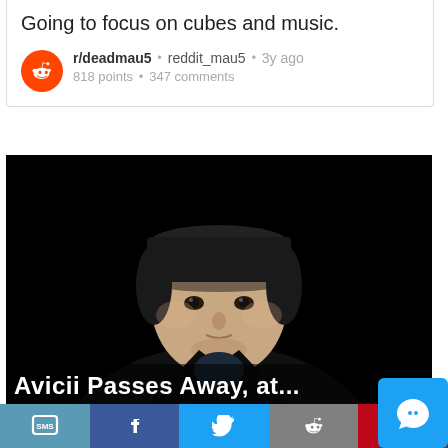Going to focus on cubes and music.
r/deadmau5 • reddit_mau5 • 3y ago
818 points • 347 comments
[Figure (photo): Portrait photo of Avicii (Tim Bergling), young man wearing a black cap and dark leather jacket, against a black background]
Avicii Passes Away at...
[Figure (infographic): Social sharing bar with SMS, Facebook, Twitter, Reddit, Pinterest buttons and a chat bubble button]